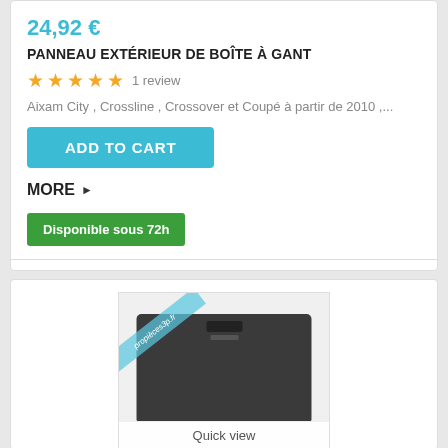24,92 €
PANNEAU EXTÉRIEUR DE BOÎTE À GANT
★★★★★ 1 review
Aixam City , Crossline , Crossover et Coupé à partir de 2010 ,...
ADD TO CART
MORE ▶
Disponible sous 72h
[Figure (photo): Product photo of a dark grey glove box exterior panel with a latch/notch, shown with a watermark band and 'Quick view' label at the bottom.]